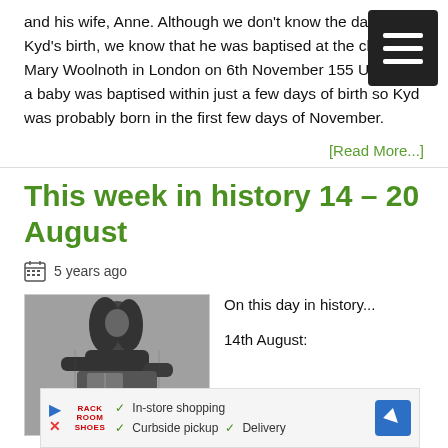and his wife, Anne. Although we don't know the date of Kyd's birth, we know that he was baptised at the ch St Mary Woolnoth in London on 6th November 155 Usually, a baby was baptised within just a few days of birth so Kyd was probably born in the first few days of November.
[Read More...]
This week in history 14 – 20 August
5 years ago
[Figure (photo): A black and white sketch/drawing of a figure, appears to be a person in dark clothing, possibly reading or holding something.]
On this day in history...

14th August:
[Figure (other): Advertisement banner: In-store shopping, Curbside pickup, Delivery with navigation arrow icon.]